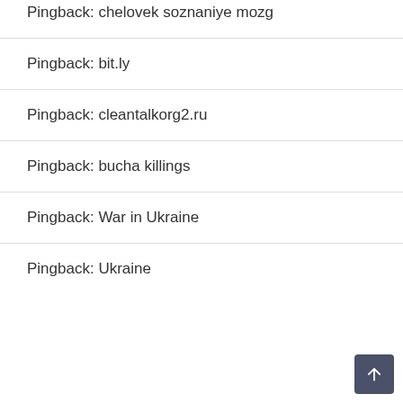Pingback: chelovek soznaniye mozg
Pingback: bit.ly
Pingback: cleantalkorg2.ru
Pingback: bucha killings
Pingback: War in Ukraine
Pingback: Ukraine